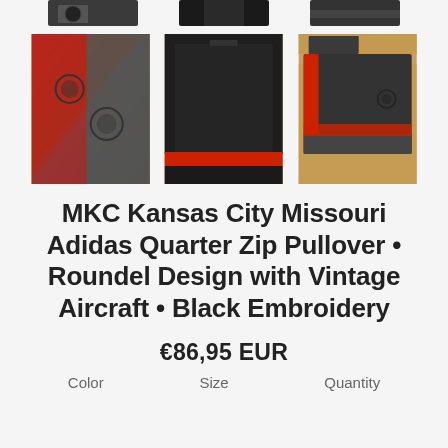[Figure (photo): Three small thumbnail images of folded athletic pullover tops in black/red/grey at top of page (partially cropped)]
[Figure (photo): Three product photos of folded Adidas Quarter Zip Pullover: left shows red/grey colorway with circular logo embroidery, center shows black with red stripe bottom, right shows black/red folded pullover on wooden surface]
MKC Kansas City Missouri Adidas Quarter Zip Pullover • Roundel Design with Vintage Aircraft • Black Embroidery
€86,95 EUR
Color   Size   Quantity